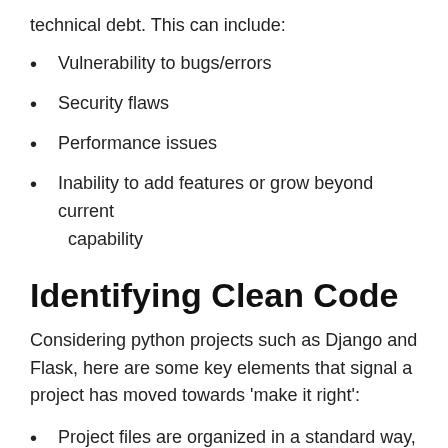technical debt. This can include:
Vulnerability to bugs/errors
Security flaws
Performance issues
Inability to add features or grow beyond current capability
Identifying Clean Code
Considering python projects such as Django and Flask, here are some key elements that signal a project has moved towards ‘make it right’:
Project files are organized in a standard way, such that things are where you expect them to be